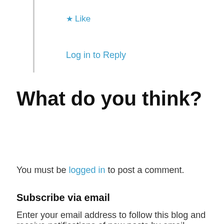★ Like
Log in to Reply
What do you think?
You must be logged in to post a comment.
Subscribe via email
Enter your email address to follow this blog and receive notifications of new posts by email.